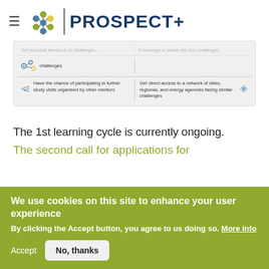PROSPECT+
[Figure (infographic): Two-column info box with icons. Left column: icon of molecular/atom structure with text about challenges; icon of airplane with text about participating in study visits organised by other mentors. Right column: icon of atom/network with text about getting direct access to a network of cities, regions, and energy agencies facing similar challenges.]
The 1st learning cycle is currently ongoing.
The second call for applications for
We use cookies on this site to enhance your user experience
By clicking the Accept button, you agree to us doing so. More info